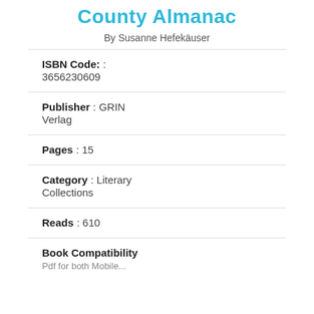County Almanac
By Susanne Hefekäuser
ISBN Code: : 3656230609
Publisher : GRIN Verlag
Pages : 15
Category : Literary Collections
Reads : 610
Book Compatibility